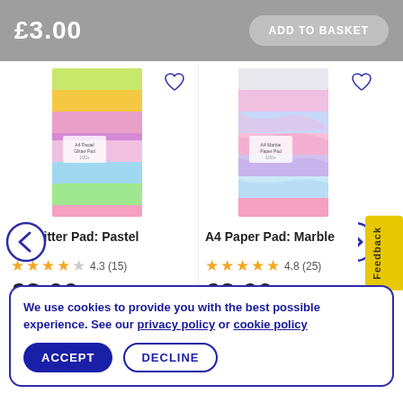£3.00
ADD TO BASKET
[Figure (photo): A4 Glitter Pad Pastel product image - pink pad with colorful glitter paper sheets]
[Figure (photo): A4 Paper Pad Marble product image - pink pad with marble patterned paper sheets]
A4 Glitter Pad: Pastel
4.3 (15)
£3.00
A4 Paper Pad: Marble
4.8 (25)
£3.00
Feedback
We use cookies to provide you with the best possible experience. See our privacy policy or cookie policy
ACCEPT
DECLINE